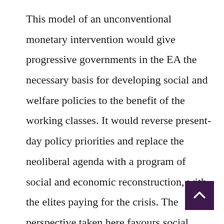This model of an unconventional monetary intervention would give progressive governments in the EA the necessary basis for developing social and welfare policies to the benefit of the working classes. It would reverse present-day policy priorities and replace the neoliberal agenda with a program of social and economic reconstruction, with the elites paying for the crisis. The perspective taken here favours social justice and coherence, having as its priority the social needs and the interests of the working majority.